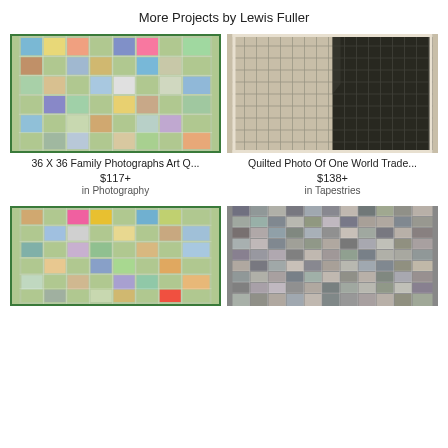More Projects by Lewis Fuller
[Figure (photo): Photo mosaic quilt with grid of nature and landscape photos on green background]
36 X 36 Family Photographs Art Q...
$117+
in Photography
[Figure (photo): Quilted photo of One World Trade Center, dark panel on woven beige fabric with grid quilting pattern]
Quilted Photo Of One World Trade...
$138+
in Tapestries
[Figure (photo): Photo mosaic quilt with grid of nature photos on green background, similar to first]
[Figure (photo): Dense photo collage with many small photos including people and places in grid layout]